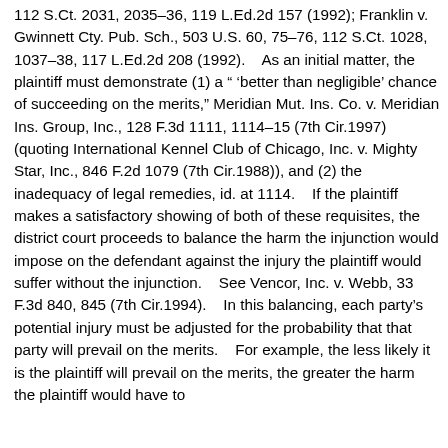112 S.Ct. 2031, 2035–36, 119 L.Ed.2d 157 (1992); Franklin v. Gwinnett Cty. Pub. Sch., 503 U.S. 60, 75–76, 112 S.Ct. 1028, 1037–38, 117 L.Ed.2d 208 (1992).    As an initial matter, the plaintiff must demonstrate (1) a " 'better than negligible' chance of succeeding on the merits," Meridian Mut. Ins. Co. v. Meridian Ins. Group, Inc., 128 F.3d 1111, 1114–15 (7th Cir.1997) (quoting International Kennel Club of Chicago, Inc. v. Mighty Star, Inc., 846 F.2d 1079 (7th Cir.1988)), and (2) the inadequacy of legal remedies, id. at 1114.    If the plaintiff makes a satisfactory showing of both of these requisites, the district court proceeds to balance the harm the injunction would impose on the defendant against the injury the plaintiff would suffer without the injunction.    See Vencor, Inc. v. Webb, 33 F.3d 840, 845 (7th Cir.1994).    In this balancing, each party's potential injury must be adjusted for the probability that that party will prevail on the merits.    For example, the less likely it is the plaintiff will prevail on the merits, the greater the harm the plaintiff would have to